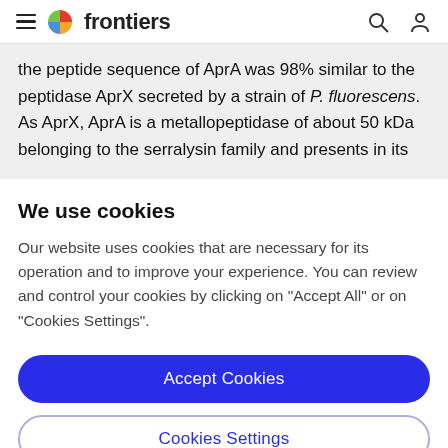frontiers
the peptide sequence of AprA was 98% similar to the peptidase AprX secreted by a strain of P. fluorescens. As AprX, AprA is a metallopeptidase of about 50 kDa belonging to the serralysin family and presents in its
We use cookies
Our website uses cookies that are necessary for its operation and to improve your experience. You can review and control your cookies by clicking on "Accept All" or on "Cookies Settings".
Accept Cookies
Cookies Settings